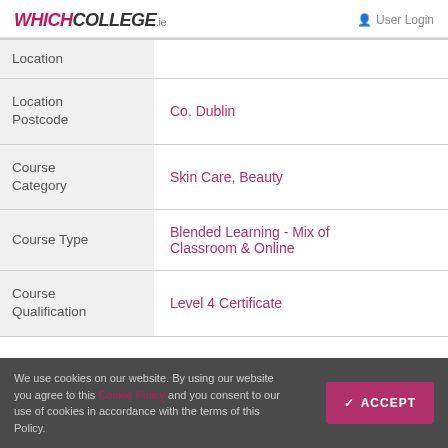WHICHCOLLEGE.ie | User Login
| Field | Value |
| --- | --- |
| Location |  |
| Location Postcode | Co. Dublin |
| Course Category | Skin Care, Beauty |
| Course Type | Blended Learning - Mix of Classroom & Online |
| Course Qualification | Level 4 Certificate |
We use cookies on our website. By using our website you agree to this Cookie Policy and you consent to our use of cookies in accordance with the terms of this Policy.